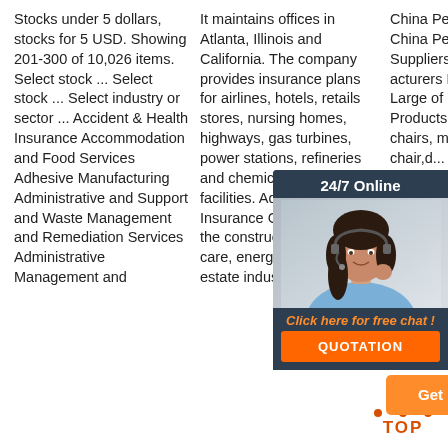Stocks under 5 dollars, stocks for 5 USD. Showing 201-300 of 10,026 items. Select stock ... Select stock ... Select industry or sector ... Accident & Health Insurance Accommodation and Food Services Adhesive Manufacturing Administrative and Support and Waste Management and Remediation Services Administrative Management and
It maintains offices in Atlanta, Illinois and California. The company provides insurance plans for airlines, hotels, retails stores, nursing homes, highways, gas turbines, power stations, refineries and chemical storage facilities. Additionally, Arch Insurance Group serves the construction, health care, energy and real estate industries.
China Pedicure Unit, China Pedicure Unit Suppliers and Manufacturers Directory ... a Large of Pedicure Products, pedicure chairs, massage chair,d... ...
[Figure (infographic): Customer service widget overlay with '24/7 Online' header, photo of a woman with headset, 'Click here for free chat!' text in orange, and a QUOTATION orange button]
[Figure (infographic): Orange 'Get Price' button]
[Figure (infographic): Orange 'TOP' back-to-top button with dot triangle icon]